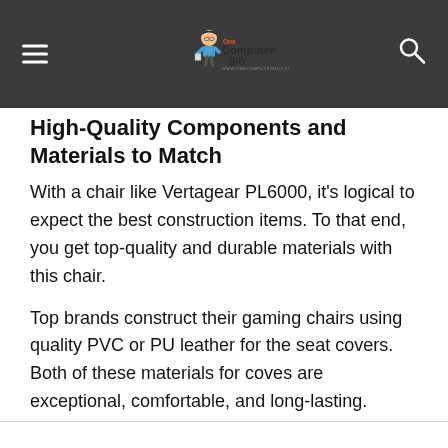One Computer Guy - onecomputerguy.com
High-Quality Components and Materials to Match
With a chair like Vertagear PL6000, it's logical to expect the best construction items. To that end, you get top-quality and durable materials with this chair.
Top brands construct their gaming chairs using quality PVC or PU leather for the seat covers. Both of these materials for coves are exceptional, comfortable, and long-lasting.